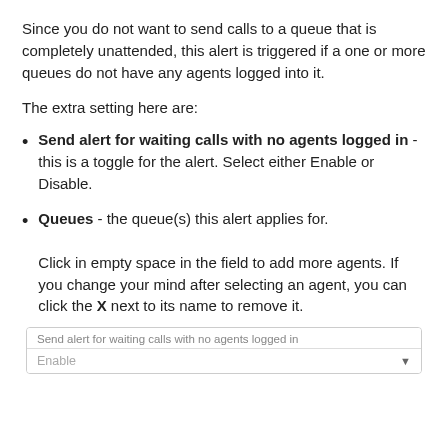Since you do not want to send calls to a queue that is completely unattended, this alert is triggered if a one or more queues do not have any agents logged into it.
The extra setting here are:
Send alert for waiting calls with no agents logged in - this is a toggle for the alert. Select either Enable or Disable.
Queues - the queue(s) this alert applies for.

Click in empty space in the field to add more agents. If you change your mind after selecting an agent, you can click the X next to its name to remove it.
[Figure (screenshot): UI mockup showing a form field labeled 'Send alert for waiting calls with no agents logged in' with a dropdown showing 'Enable']